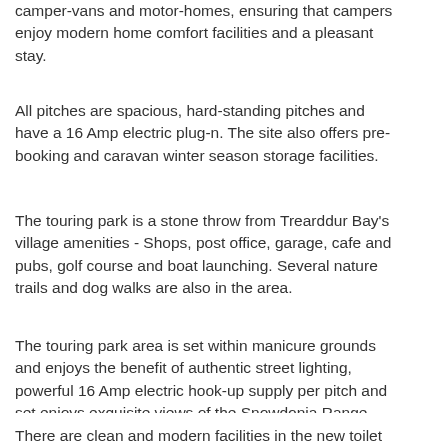camper-vans and motor-homes, ensuring that campers enjoy modern home comfort facilities and a pleasant stay.
All pitches are spacious, hard-standing pitches and have a 16 Amp electric plug-n. The site also offers pre-booking and caravan winter season storage facilities.
The touring park is a stone throw from Trearddur Bay's village amenities - Shops, post office, garage, cafe and pubs, golf course and boat launching. Several nature trails and dog walks are also in the area.
The touring park area is set within manicure grounds and enjoys the benefit of authentic street lighting, powerful 16 Amp electric hook-up supply per pitch and set enjoys exquisite views of the Snowdonia Range.
There are clean and modern facilities in the new toilet block featuring toilets and